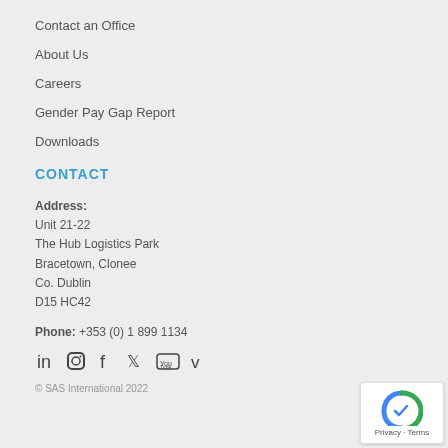Contact an Office
About Us
Careers
Gender Pay Gap Report
Downloads
CONTACT
Address:
Unit 21-22
The Hub Logistics Park
Bracetown, Clonee
Co. Dublin
D15 HC42
Phone: +353 (0) 1 899 1134
[Figure (other): Social media icons: LinkedIn, Instagram, Facebook, Twitter, YouTube, Vimeo]
© SAS International 2022